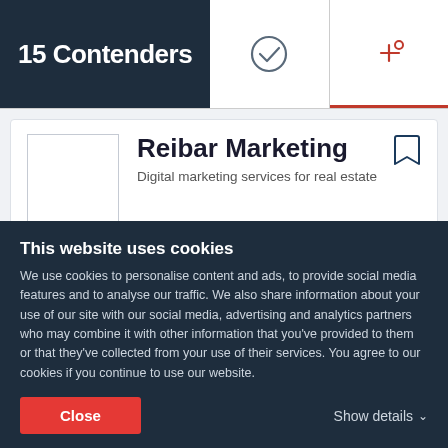15 Contenders
Reibar Marketing
Digital marketing services for real estate
$1,000+
$100 - $149 / hr
2 - 9
Nashville, TN
Ability to deliver	21.7
This website uses cookies
We use cookies to personalise content and ads, to provide social media features and to analyse our traffic. We also share information about your use of our site with our social media, advertising and analytics partners who may combine it with other information that you've provided to them or that they've collected from your use of their services. You agree to our cookies if you continue to use our website.
Close
Show details